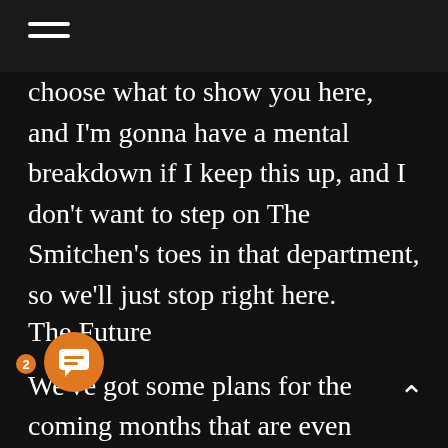≡ (hamburger menu)
choose what to show you here, and I'm gonna have a mental breakdown if I keep this up, and I don't want to step on The Smitchen's toes in that department, so we'll just stop right here.
The Future
We've got some plans for the coming months that are even bigger than everything we've done this past year, including major expansions of various sections of the site, to round out our value to you, the readers, as well as more of the same contests, giveaways